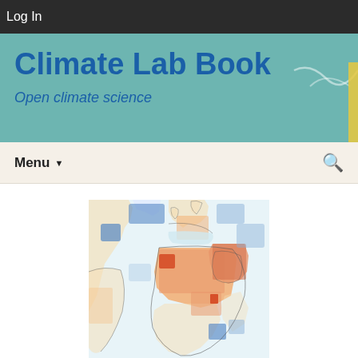Log In
Climate Lab Book
Open climate science
Menu
[Figure (map): World map showing climate anomalies with color-coded temperature departures. Orange and red regions indicate warmer than normal areas across North Africa, Middle East, and parts of Europe. Blue regions indicate cooler than normal areas over North Atlantic, parts of North America, and some regions in Southern Africa. White areas indicate near-normal temperatures. The map is partially cropped showing primarily Africa, Europe, Middle East, and Atlantic Ocean regions.]